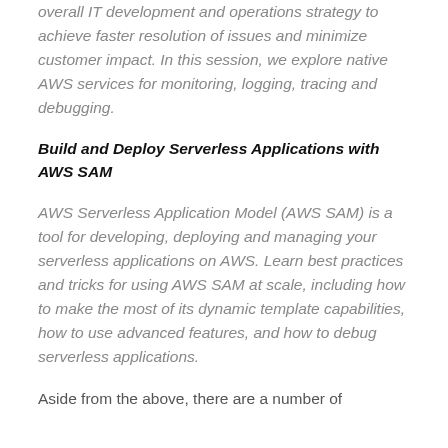overall IT development and operations strategy to achieve faster resolution of issues and minimize customer impact. In this session, we explore native AWS services for monitoring, logging, tracing and debugging.
Build and Deploy Serverless Applications with AWS SAM
AWS Serverless Application Model (AWS SAM) is a tool for developing, deploying and managing your serverless applications on AWS. Learn best practices and tricks for using AWS SAM at scale, including how to make the most of its dynamic template capabilities, how to use advanced features, and how to debug serverless applications.
Aside from the above, there are a number of